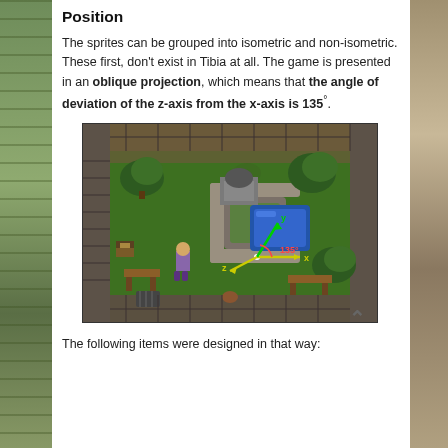Position
The sprites can be grouped into isometric and non-isometric. These first, don't exist in Tibia at all. The game is presented in an oblique projection, which means that the angle of deviation of the z-axis from the x-axis is 135°.
[Figure (screenshot): Screenshot of Tibia game in oblique projection showing a top-down view of a game area with trees, stone walls, a pond, and a character. Coordinate axes (x, y, z) are annotated showing the 135° angle between z and x axes.]
The following items were designed in that way: